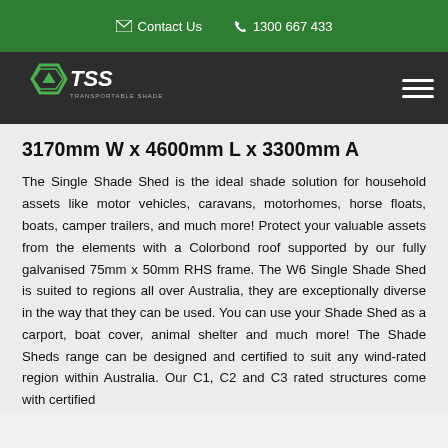Contact Us  1300 667 433
[Figure (logo): TSS Transportable Shade Sheds logo with hexagonal icon and hamburger menu]
3170mm W x 4600mm L x 3300mm A
The Single Shade Shed is the ideal shade solution for household assets like motor vehicles, caravans, motorhomes, horse floats, boats, camper trailers, and much more! Protect your valuable assets from the elements with a Colorbond roof supported by our fully galvanised 75mm x 50mm RHS frame. The W6 Single Shade Shed is suited to regions all over Australia, they are exceptionally diverse in the way that they can be used. You can use your Shade Shed as a carport, boat cover, animal shelter and much more! The Shade Sheds range can be designed and certified to suit any wind-rated region within Australia. Our C1, C2 and C3 rated structures come with certified